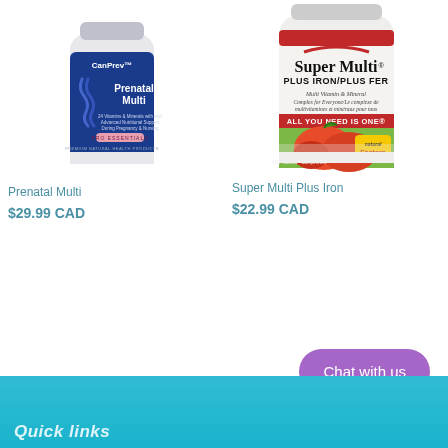[Figure (photo): CanPrev Prenatal Multi supplement bottle – white bottle with dark blue label, shows '90 Vegetable Capsules', PRO ESSENTIALS, 24 Vitamins & Minerals with Iron, Advanced Nutritional Support During Pregnancy & Nursing, Premium Natural Health Products]
Prenatal Multi
$29.99 CAD
[Figure (photo): Natural Factors Super Multi Plus Iron / Plus Fer supplement bottle – white bottle with red and green label, 180 Tablets, All You Need Is One, Multi Vitamin & Mineral Complex for Everyone, with apple imagery and Natural Factors logo]
Super Multi Plus Iron
$22.99 CAD
Chat with us
Quick links